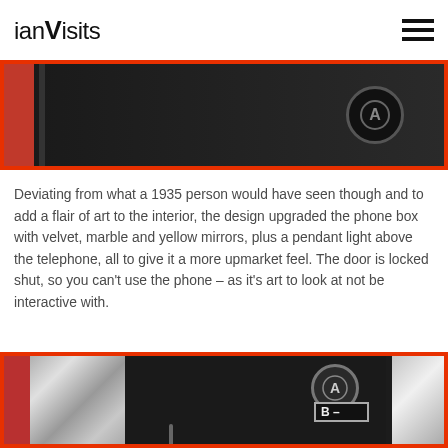ianVisits
[Figure (photo): Top portion of a phone box interior showing black equipment, red frame, and a circular logo against dark background]
Deviating from what a 1935 person would have seen though and to add a flair of art to the interior, the design upgraded the phone box with velvet, marble and yellow mirrors, plus a pendant light above the telephone, all to give it a more upmarket feel. The door is locked shut, so you can't use the phone – as it's art to look at not be interactive with.
[Figure (photo): Interior of a decorated phone box showing red frame, marble panel, dark telephone equipment with A and B buttons visible, and rope detail]